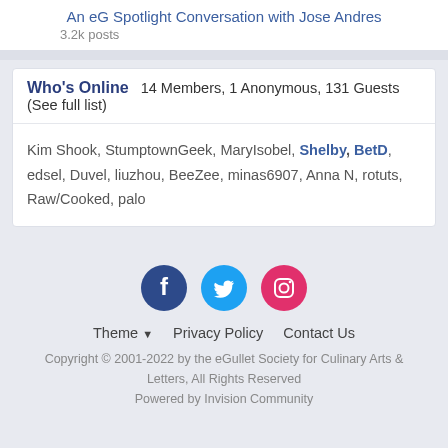An eG Spotlight Conversation with Jose Andres
3.2k posts
Who's Online  14 Members, 1 Anonymous, 131 Guests (See full list)
Kim Shook, StumptownGeek, MaryIsobel, Shelby, BetD, edsel, Duvel, liuzhou, BeeZee, minas6907, Anna N, rotuts, Raw/Cooked, palo
[Figure (infographic): Three social media icons: Facebook (dark blue circle), Twitter (cyan circle), Instagram (pink/red circle)]
Theme ▼   Privacy Policy   Contact Us
Copyright © 2001-2022 by the eGullet Society for Culinary Arts & Letters, All Rights Reserved
Powered by Invision Community